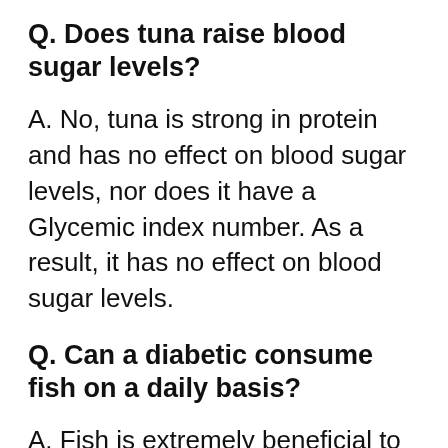Q. Does tuna raise blood sugar levels?
A. No, tuna is strong in protein and has no effect on blood sugar levels, nor does it have a Glycemic index number. As a result, it has no effect on blood sugar levels.
Q. Can a diabetic consume fish on a daily basis?
A. Fish is extremely beneficial to diabetics. Diabetes patients